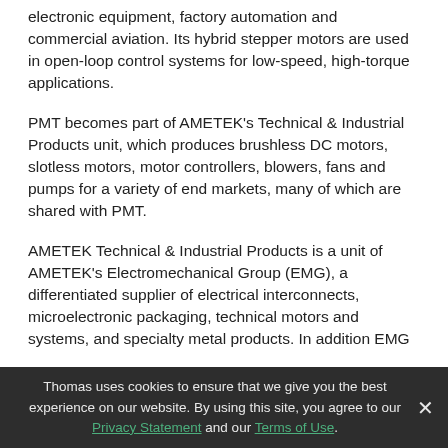electronic equipment, factory automation and commercial aviation. Its hybrid stepper motors are used in open-loop control systems for low-speed, high-torque applications.
PMT becomes part of AMETEK's Technical & Industrial Products unit, which produces brushless DC motors, slotless motors, motor controllers, blowers, fans and pumps for a variety of end markets, many of which are shared with PMT.
AMETEK Technical & Industrial Products is a unit of AMETEK's Electromechanical Group (EMG), a differentiated supplier of electrical interconnects, microelectronic packaging, technical motors and systems, and specialty metal products. In addition EMG produces electric motors for floor care and other specialty motor applications and had 2005 sales of approximately $626 million.
Thomas uses cookies to ensure that we give you the best experience on our website. By using this site, you agree to our Privacy Statement and our Terms of Use.